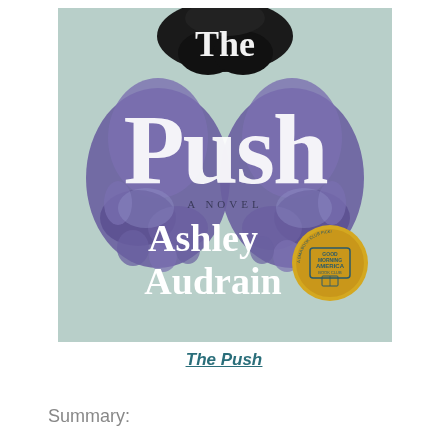[Figure (illustration): Book cover of 'The Push' by Ashley Audrain. Light teal/mint background with large stylized white serif text 'The Push' overlaid on a mirrored purple/dark inkblot figure suggesting hands. Subtitle 'A Novel' in small caps. Author name 'Ashley Audrain' in large white serif font at bottom. Gold Good Morning America Book Club seal in lower right.]
The Push
Summary: